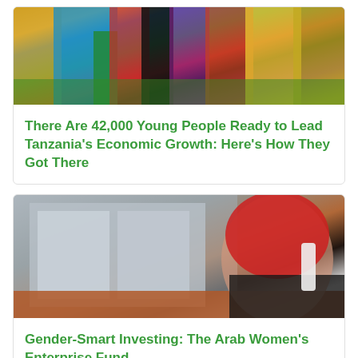[Figure (photo): Group of young women in colorful traditional clothing standing outdoors]
There Are 42,000 Young People Ready to Lead Tanzania's Economic Growth: Here's How They Got There
[Figure (photo): Arab woman wearing red floral hijab talking on a telephone at a desk]
Gender-Smart Investing: The Arab Women's Enterprise Fund